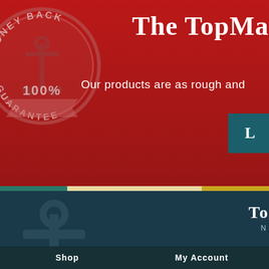[Figure (screenshot): Website hero section with red background, money-back guarantee badge/seal on the left showing anchor, '100%', 'GUARANTEE', 'MONEY BACK' text, a teal CTA button on the right showing 'L...' (Learn More), and landscape silhouette overlay]
The TopMa...
Our products are as rough and...
To... M...
Shop
My Account